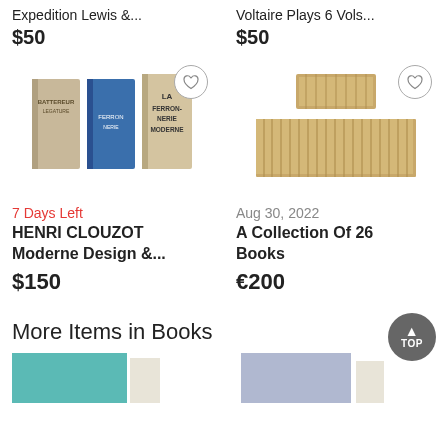Expedition Lewis &...
$50
Voltaire Plays 6 Vols...
$50
[Figure (photo): Three books fanned out showing covers including 'LA FERRONNERIE MODERNE']
[Figure (photo): A collection of approximately 26 aged books stacked and arranged]
7 Days Left
Aug 30, 2022
HENRI CLOUZOT Moderne Design &...
$150
A Collection Of 26 Books
€200
More Items in Books
[Figure (photo): Teal/turquoise colored book cover at bottom left]
[Figure (photo): Purple/grey colored book cover at bottom right]